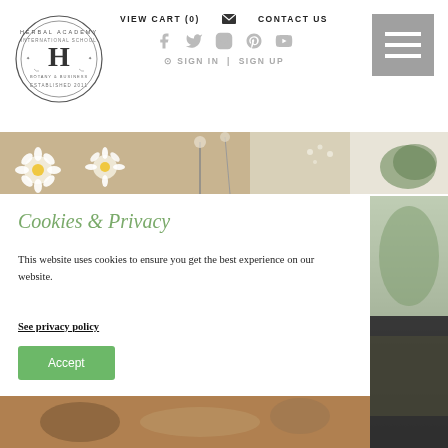VIEW CART (0)   CONTACT US
[Figure (logo): Herbal Academy International School circular stamp logo with letter H in center, established 2011]
[Figure (illustration): Hamburger menu icon (three horizontal lines) on grey background]
[Figure (photo): Flat lay of dried flowers and herbs including white daisies on a beige/linen background]
Cookies & Privacy
This website uses cookies to ensure you get the best experience on our website.
See privacy policy
Accept